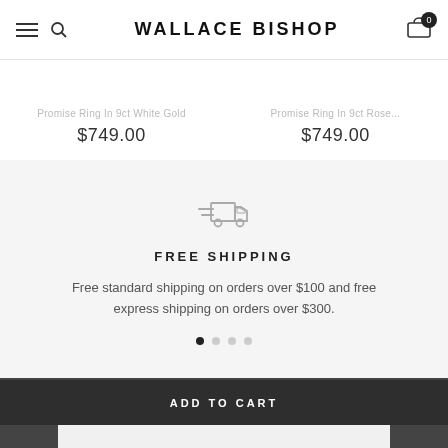WALLACE BISHOP
Promise Ring In 9ct White Gold  $749.00  |  Promise Ring In 9ct Rose...  $749.00
[Figure (infographic): Free shipping promotional banner with truck icon, heading FREE SHIPPING, and description text about free standard and express shipping thresholds, with pagination dots below]
FREE SHIPPING
Free standard shipping on orders over $100 and free express shipping on orders over $300.
ADD TO CART